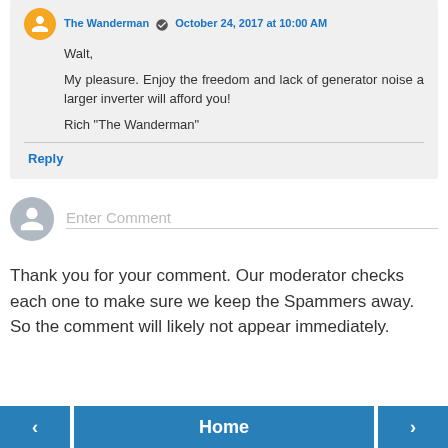The Wanderman — October 24, 2017 at 10:00 AM
Walt,
My pleasure. Enjoy the freedom and lack of generator noise a larger inverter will afford you!

Rich "The Wanderman"
Reply
Enter Comment
Thank you for your comment. Our moderator checks each one to make sure we keep the Spammers away. So the comment will likely not appear immediately.
‹
Home
›